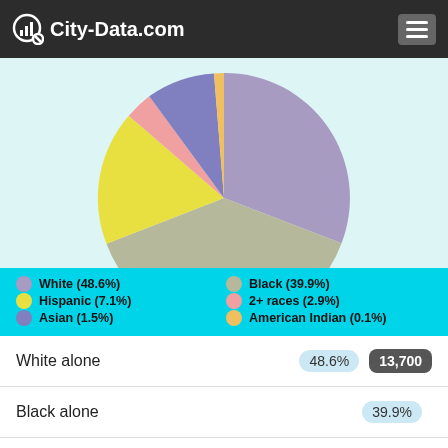City-Data.com
[Figure (pie-chart): Race demographics]
White (48.6%)
Black (39.9%)
Hispanic (7.1%)
2+ races (2.9%)
Asian (1.5%)
American Indian (0.1%)
| Category | Percent | Count |
| --- | --- | --- |
| White alone | 48.6% | 13,700 |
| Black alone | 39.9% |  |